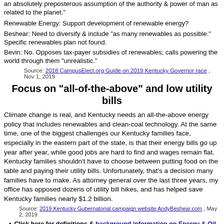an absolutely preposterous assumption of the authority & power of man as related to the planet."
Renewable Energy: Support development of renewable energy?
Beshear: Need to diversify & include "as many renewables as possible." Specific renewables plan not found.
Bevin: No. Opposes tax-payer subsidies of renewables; calls powering the world through them "unrealistic."
Source: 2018 CampusElect.org Guide on 2019 Kentucky Governor race , Nov 1, 2019
Focus on "all-of-the-above" and low utility bills
Climate change is real, and Kentucky needs an all-the-above energy policy that includes renewables and clean-coal technology. At the same time, one of the biggest challenges our Kentucky families face, especially in the eastern part of the state, is that their energy bills go up year after year, while good jobs are hard to find and wages remain flat. Kentucky families shouldn't have to choose between putting food on the table and paying their utility bills. Unfortunately, that's a decision many families have to make. As attorney general over the last three years, my office has opposed dozens of utility bill hikes, and has helped save Kentucky families nearly $1.2 billion.
Source: 2019 Kentucky Gubernatorial campaign website AndyBeshear.com , May 2, 2019
Click here for definitions & background information on Energy & Oil.
Click here for a summary of all issue stances of Andy Beshear.